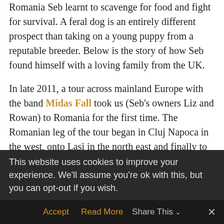Romania Seb learnt to scavenge for food and fight for survival.  A feral dog is an entirely different prospect than taking on a young puppy from a reputable breeder.  Below is the story of how Seb found himself with a loving family from the UK.
In late 2011, a tour across mainland Europe with the band Midas Fall took us (Seb's owners Liz and Rowan) to Romania for the first time.  The Romanian leg of the tour began in Cluj Napoca in the west, onto Lasi in the north east and finally to the capital Bucharest in the south.
This website uses cookies to improve your experience. We'll assume you're ok with this, but you can opt-out if you wish.
Accept    Read More    Share This